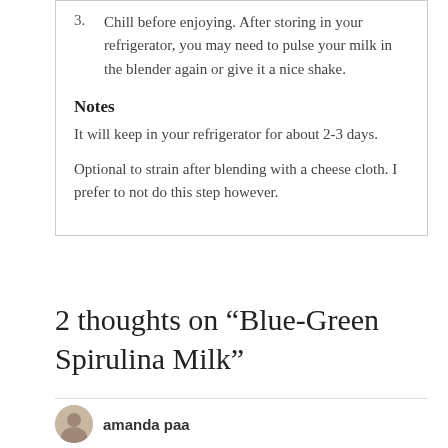3. Chill before enjoying. After storing in your refrigerator, you may need to pulse your milk in the blender again or give it a nice shake.
Notes
It will keep in your refrigerator for about 2-3 days.
Optional to strain after blending with a cheese cloth. I prefer to not do this step however.
2 thoughts on “Blue-Green Spirulina Milk”
amanda paa
June 28, 2015 at 10:24 pm
okay, if anyone can make me a believer it blue-green milk it’s you! i really enjoyed learning how